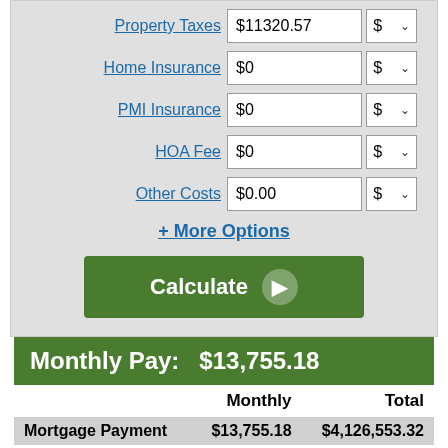|  | Monthly | Total |
| --- | --- | --- |
| Property Taxes | $11320.57 | $ |
| Home Insurance | $0 | $ |
| PMI Insurance | $0 | $ |
| HOA Fee | $0 | $ |
| Other Costs | $0.00 | $ |
+ More Options
Calculate
Monthly Pay:   $13,755.18
|  | Monthly | Total |
| --- | --- | --- |
| Mortgage Payment | $13,755.18 | $4,126,553.32 |
| Property Tax | $943.38 | $283,014.25 |
| Total Out of Pocket | $14,698.56 | $4,409,567.57 |